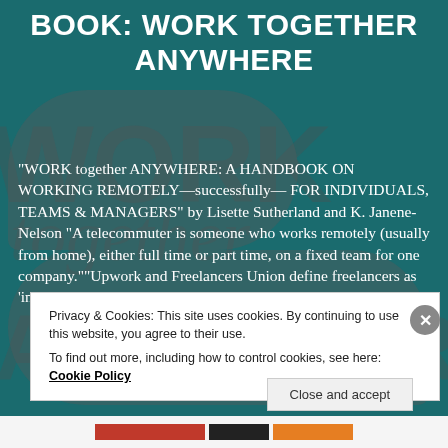BOOK: WORK TOGETHER ANYWHERE
"WORK together ANYWHERE: A HANDBOOK ON WORKING REMOTELY—successfully— FOR INDIVIDUALS, TEAMS & MANAGERS" by Lisette Sutherland and K. Janene-Nelson "A telecommuter is someone who works remotely (usually from home), either full time or part time, on a fixed team for one company.""Upwork and Freelancers Union define freelancers as 'individuals who have engaged
Privacy & Cookies: This site uses cookies. By continuing to use this website, you agree to their use.
To find out more, including how to control cookies, see here: Cookie Policy
Close and accept